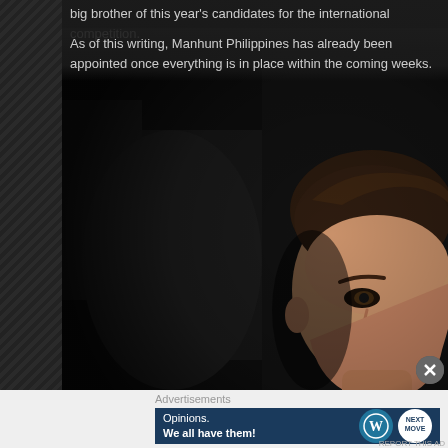big brother of this year's candidates for the international competition.
As of this writing, Manhunt Philippines has already been appointed once everything is in place within the coming weeks.
[Figure (photo): A young man with dark short hair shown from the shoulders up against a dark background, partially illuminated, visible mainly on the right side of the image.]
Advertisements
[Figure (screenshot): Advertisement banner with dark blue background reading 'Opinions. We all have them!' with WordPress logo and another circular logo on the right.]